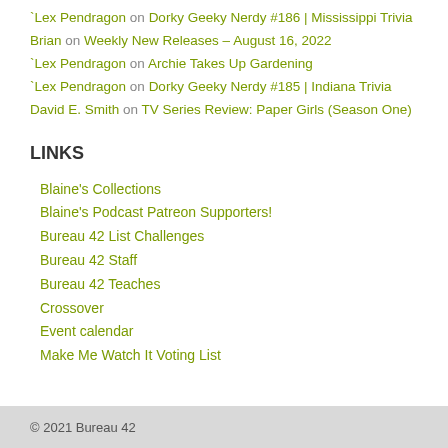`Lex Pendragon on Dorky Geeky Nerdy #186 | Mississippi Trivia
Brian on Weekly New Releases – August 16, 2022
`Lex Pendragon on Archie Takes Up Gardening
`Lex Pendragon on Dorky Geeky Nerdy #185 | Indiana Trivia
David E. Smith on TV Series Review: Paper Girls (Season One)
LINKS
Blaine's Collections
Blaine's Podcast Patreon Supporters!
Bureau 42 List Challenges
Bureau 42 Staff
Bureau 42 Teaches
Crossover
Event calendar
Make Me Watch It Voting List
© 2021 Bureau 42